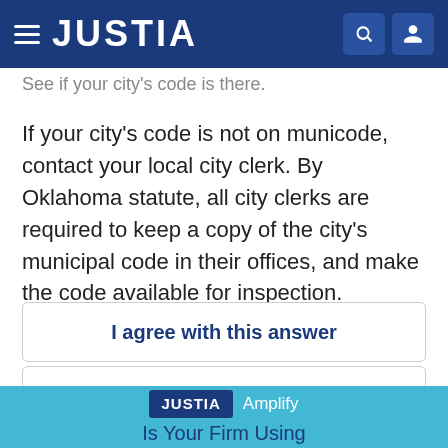JUSTIA
See if your city's code is there.
If your city's code is not on municode, contact your local city clerk. By Oklahoma statute, all city clerks are required to keep a copy of the city's municipal code in their offices, and make the code available for inspection.
I agree with this answer
🏴 Report
[Figure (logo): JUSTIA Amplify logo with text 'Is Your Firm Using']